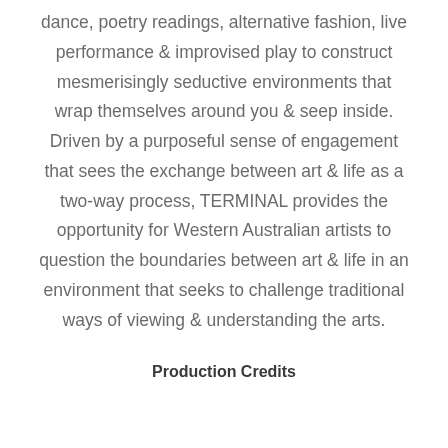dance, poetry readings, alternative fashion, live performance & improvised play to construct mesmerisingly seductive environments that wrap themselves around you & seep inside. Driven by a purposeful sense of engagement that sees the exchange between art & life as a two-way process, TERMINAL provides the opportunity for Western Australian artists to question the boundaries between art & life in an environment that seeks to challenge traditional ways of viewing & understanding the arts.
Production Credits